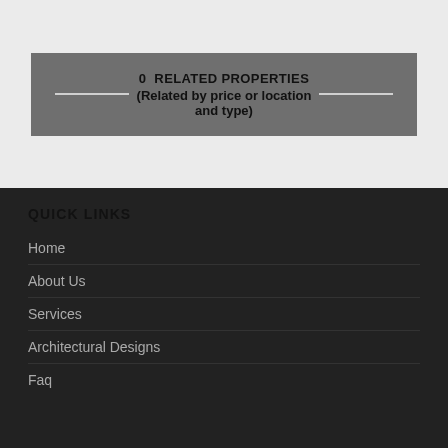0  RELATED PROPERTIES (Related by price or location and type)
QUICK LINKS
Home
About Us
Services
Architectural Designs
Faq